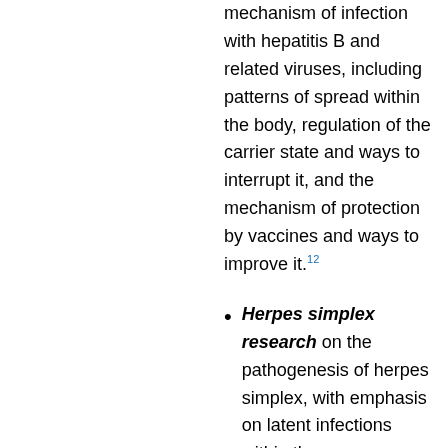mechanism of infection with hepatitis B and related viruses, including patterns of spread within the body, regulation of the carrier state and ways to interrupt it, and the mechanism of protection by vaccines and ways to improve it.12
Herpes simplex research on the pathogenesis of herpes simplex, with emphasis on latent infections within the nervous system and how the host response reacts